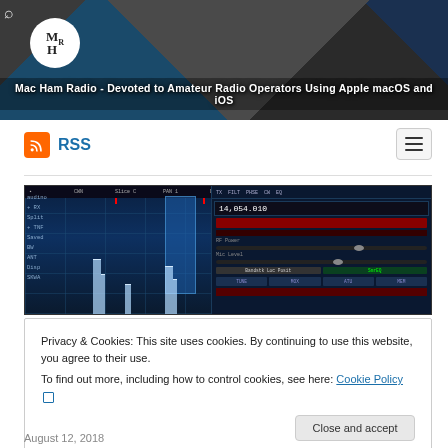[Figure (photo): Mac Ham Radio website banner header showing radio equipment photos with logo and text: Mac Ham Radio - Devoted to Amateur Radio Operators Using Apple macOS and iOS]
RSS
[Figure (screenshot): SDR (Software Defined Radio) waterfall/spectrum analyzer display showing radio frequency spectrum with blue waterfall display, frequency readout 14.054.010, and control panel on the right]
Privacy & Cookies: This site uses cookies. By continuing to use this website, you agree to their use.
To find out more, including how to control cookies, see here: Cookie Policy
Close and accept
August 12, 2018